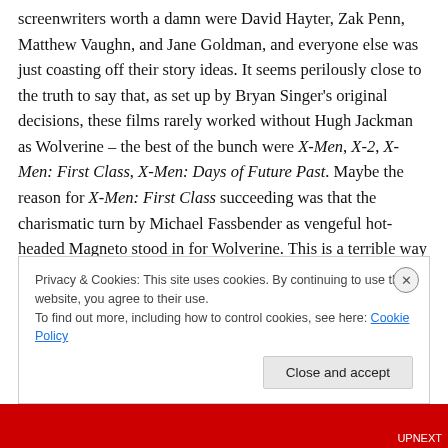screenwriters worth a damn were David Hayter, Zak Penn, Matthew Vaughn, and Jane Goldman, and everyone else was just coasting off their story ideas. It seems perilously close to the truth to say that, as set up by Bryan Singer's original decisions, these films rarely worked without Hugh Jackman as Wolverine – the best of the bunch were X-Men, X-2, X-Men: First Class, X-Men: Days of Future Past. Maybe the reason for X-Men: First Class succeeding was that the charismatic turn by Michael Fassbender as vengeful hot-headed Magneto stood in for Wolverine. This is a terrible way for the X-Men to end given that they
Privacy & Cookies: This site uses cookies. By continuing to use this website, you agree to their use.
To find out more, including how to control cookies, see here: Cookie Policy
Close and accept